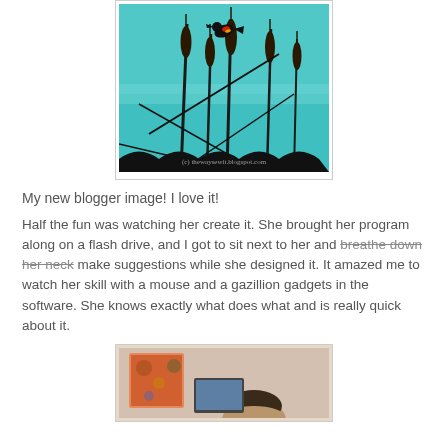[Figure (illustration): Digital illustration of black silhouette cattails and a red-winged blackbird on a teal/turquoise background, with watermark '(c) thewaysewit.blogspot.com']
My new blogger image!  I love it!
Half the fun was watching her create it.  She brought her program along on a flash drive, and I got to sit next to her and breathe down her neck make suggestions while she designed it.  It amazed me to watch her skill with a mouse and a gazillion gadgets in the software.  She knows exactly what does what and is really quick about it.
[Figure (photo): Partial photo of a person sitting at a computer, with colorful fabric or artwork visible behind them]